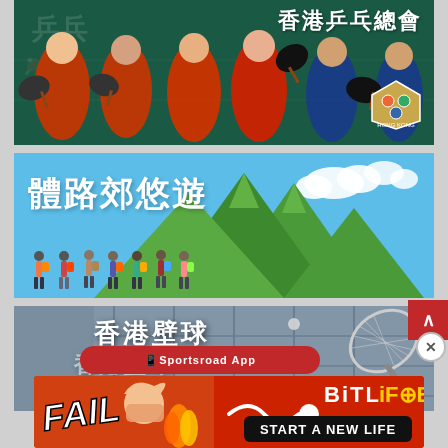[Figure (photo): Hong Kong Table Tennis Association banner with players in red uniforms holding paddles, dark green chalkboard background, Chinese text 香港乒乓總會 and association logo]
[Figure (illustration): Hiking/outdoor activity banner with large Chinese text 體路郊悠遊 on sky-blue background, illustrated mountains and hikers]
[Figure (photo): Hong Kong squash banner with Chinese text 香港壁球 repeated in layered translucent style, squash racket graphic on grey-blue background]
[Figure (screenshot): BitLife mobile game advertisement banner with FAIL text, animated character, fire and BitLife logo with START A NEW LIFE tagline on red background]